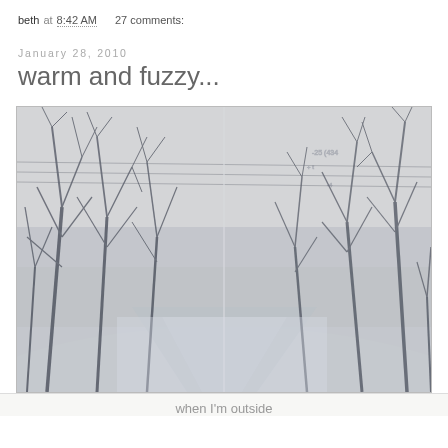beth at 8:42 AM   27 comments:
January 28, 2010
warm and fuzzy...
[Figure (photo): A vintage-style winter photograph showing a snow-covered road or path lined with bare trees on both sides. The image has a blue-grey tonal quality and appears to be a composite of two slightly different shots placed side by side. Power lines are visible overhead. The scene is wintry and atmospheric.]
when I'm outside